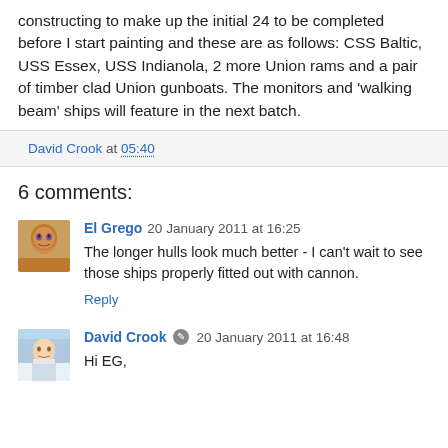constructing to make up the initial 24 to be completed before I start painting and these are as follows: CSS Baltic, USS Essex, USS Indianola, 2 more Union rams and a pair of timber clad Union gunboats. The monitors and 'walking beam' ships will feature in the next batch.
David Crook at 05:40
6 comments:
El Grego 20 January 2011 at 16:25
The longer hulls look much better - I can't wait to see those ships properly fitted out with cannon.
Reply
David Crook 20 January 2011 at 16:48
Hi EG,